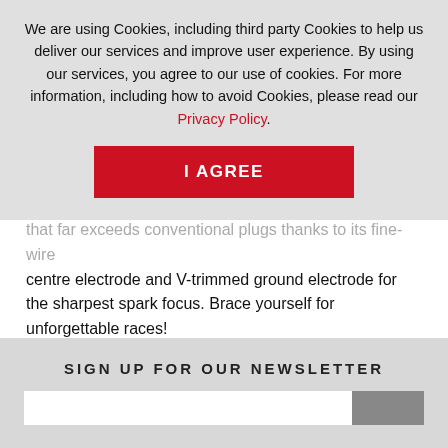We are using Cookies, including third party Cookies to help us deliver our services and improve user experience. By using our services, you agree to our use of cookies. For more information, including how to avoid Cookies, please read our Privacy Policy.
I AGREE
that far exceeds conventional plugs thanks to its fine-wire centre electrode and V-trimmed ground electrode for the sharpest spark focus. Brace yourself for unforgettable races!
Find more information about each of these Spark Plugs on the dedicated Racing website.
SIGN UP FOR OUR NEWSLETTER